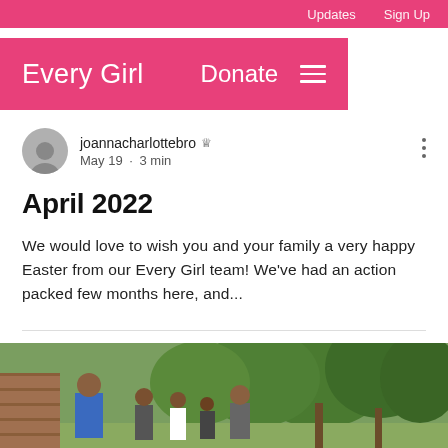Updates  Sign Up
Every Girl  Donate  ≡
joannacharlottebro  Admin
May 19 · 3 min
April 2022
We would love to wish you and your family a very happy Easter from our Every Girl team! We've had an action packed few months here, and...
[Figure (photo): Outdoor scene with people gathered under trees, one person in a blue shirt visible in the foreground]